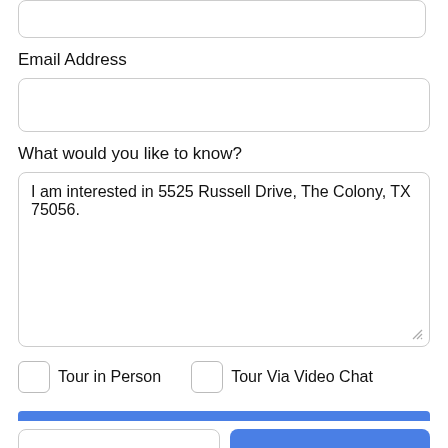Email Address
What would you like to know?
I am interested in 5525 Russell Drive, The Colony, TX 75056.
Tour in Person
Tour Via Video Chat
Take a Tour
Ask A Question
Disclaimer: By clicking your submission, we connect you to the agent you are